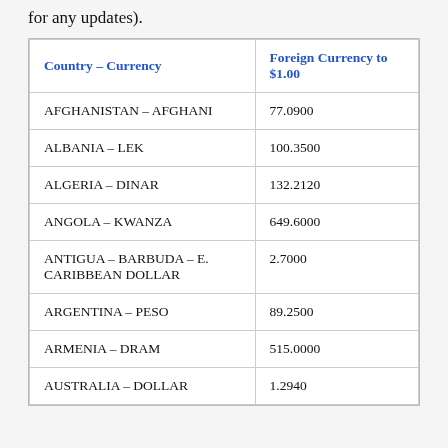for any updates).
| Country – Currency | Foreign Currency to $1.00 |
| --- | --- |
| AFGHANISTAN – AFGHANI | 77.0900 |
| ALBANIA – LEK | 100.3500 |
| ALGERIA – DINAR | 132.2120 |
| ANGOLA – KWANZA | 649.6000 |
| ANTIGUA – BARBUDA – E. CARIBBEAN DOLLAR | 2.7000 |
| ARGENTINA – PESO | 89.2500 |
| ARMENIA – DRAM | 515.0000 |
| AUSTRALIA – DOLLAR | 1.2940 |